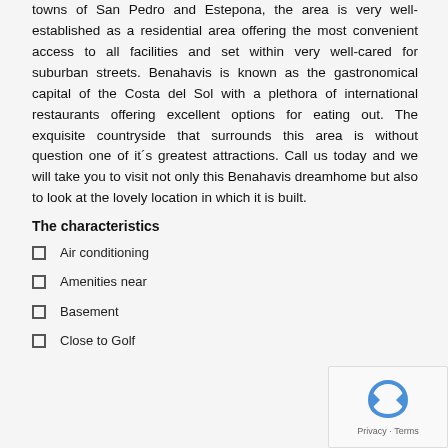towns of San Pedro and Estepona, the area is very well-established as a residential area offering the most convenient access to all facilities and set within very well-cared for suburban streets. Benahavis is known as the gastronomical capital of the Costa del Sol with a plethora of international restaurants offering excellent options for eating out. The exquisite countryside that surrounds this area is without question one of it´s greatest attractions. Call us today and we will take you to visit not only this Benahavis dreamhome but also to look at the lovely location in which it is built.
The characteristics
Air conditioning
Amenities near
Basement
Close to Golf